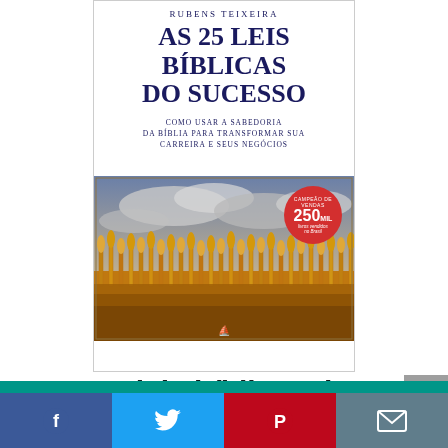[Figure (illustration): Book cover of 'As 25 Leis Bíblicas do Sucesso' by Rubens Teixeira. White top section with dark blue title text and subtitle. Lower section shows a golden wheat field under dramatic cloudy sky. Red circular badge reads '250 Mil' copies sold in Brazil. Small publisher logo at bottom center.]
As 25 leis bíblicas do sucesso
[Figure (infographic): Social media sharing bar with Facebook (blue), Twitter (light blue), Pinterest (red), and Email (grey) icons.]